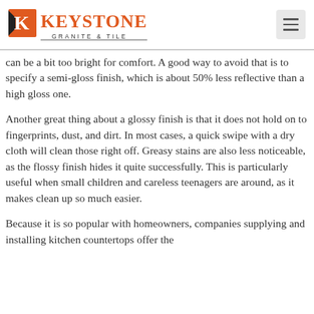Keystone Granite & Tile
can be a bit too bright for comfort. A good way to avoid that is to specify a semi-gloss finish, which is about 50% less reflective than a high gloss one.
Another great thing about a glossy finish is that it does not hold on to fingerprints, dust, and dirt. In most cases, a quick swipe with a dry cloth will clean those right off. Greasy stains are also less noticeable, as the flossy finish hides it quite successfully. This is particularly useful when small children and careless teenagers are around, as it makes clean up so much easier.
Because it is so popular with homeowners, companies supplying and installing kitchen countertops offer the